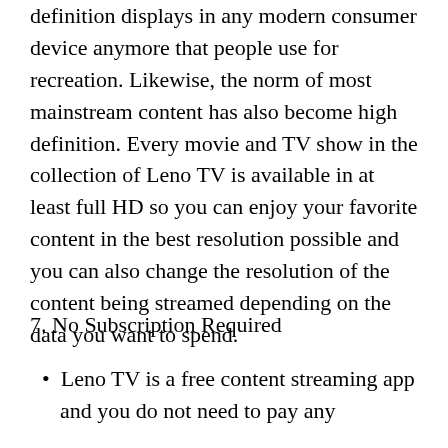definition displays in any modern consumer device anymore that people use for recreation. Likewise, the norm of most mainstream content has also become high definition. Every movie and TV show in the collection of Leno TV is available in at least full HD so you can enjoy your favorite content in the best resolution possible and you can also change the resolution of the content being streamed depending on the data you want to spend.
7. No Subscription Required
Leno TV is a free content streaming app and you do not need to pay any